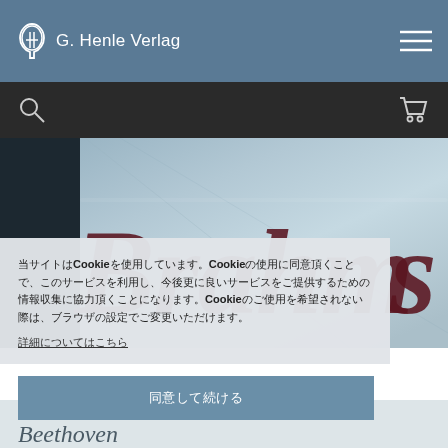G. Henle Verlag
[Figure (photo): Close-up photo of a music score book cover with the word 'Brahms' in large italic serif text on a blue-grey textured background]
当サイトはCookieを使用しています。Cookieの使用に同意頂くことで、このサービスを利用し、今後更に良いサービスをご提供するための情報収集に協力頂くことになります。Cookieのご使用を希望されない際は、ブラウザの設定でご変更いただけます。
詳細についてはこちら
同意して続ける
Beethoven